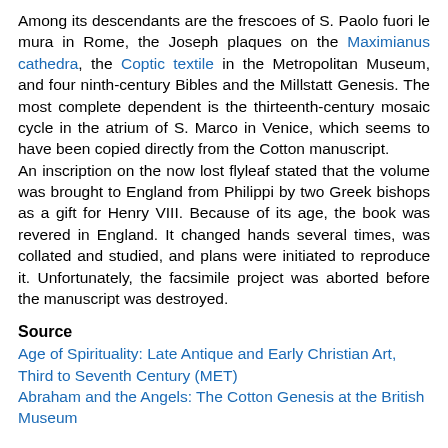Among its descendants are the frescoes of S. Paolo fuori le mura in Rome, the Joseph plaques on the Maximianus cathedra, the Coptic textile in the Metropolitan Museum, and four ninth-century Bibles and the Millstatt Genesis. The most complete dependent is the thirteenth-century mosaic cycle in the atrium of S. Marco in Venice, which seems to have been copied directly from the Cotton manuscript.
An inscription on the now lost flyleaf stated that the volume was brought to England from Philippi by two Greek bishops as a gift for Henry VIII. Because of its age, the book was revered in England. It changed hands several times, was collated and studied, and plans were initiated to reproduce it. Unfortunately, the facsimile project was aborted before the manuscript was destroyed.
Source
Age of Spirituality: Late Antique and Early Christian Art, Third to Seventh Century (MET)
Abraham and the Angels: The Cotton Genesis at the British Museum